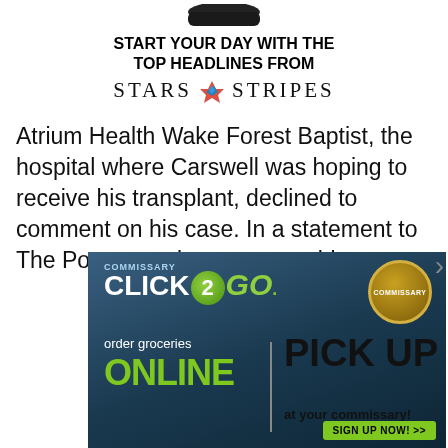[Figure (logo): Stars and Stripes newspaper logo with decorative emblem]
START YOUR DAY WITH THE TOP HEADLINES FROM Stars and Stripes
Atrium Health Wake Forest Baptist, the hospital where Carswell was hoping to receive his transplant, declined to comment on his case. In a statement to The Post, a spokeswoman said
[Figure (illustration): Commissary Click2Go advertisement banner: order groceries online, pick up at your commissary. Sign up now.]